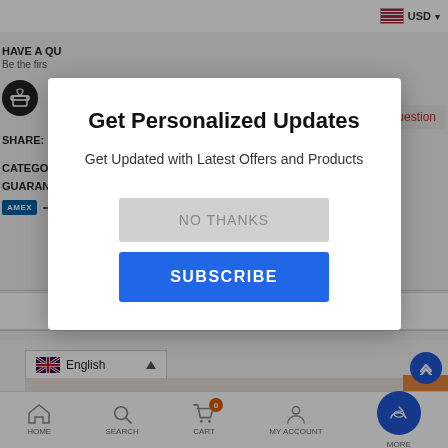[Figure (screenshot): E-commerce website screenshot showing a modal popup dialog over a product page. Background shows 'HAVE A QU[ESTION]', 'Be the firs[t]', gift icon, SHARE with Facebook icon, CATEGORY, GUARANTEE, AMEX payment icon, a button labeled 'uestion', tabs for Details / Shipping & Returns / How To Use / Reviews, language selector showing English with UK flag, product strip showing 'Anti Aging & Labido Booster - Patcho', orange corner, and bottom navigation bar with HOME, SEARCH, CART (badge 0), MY ACCOUNT, MORE. Modal dialog in foreground shows 'Get Personalized Updates', subtitle 'Get Updated with Latest Offers and Products', 'NO THANKS' gray button, and 'SUBSCRIBE' blue button.]